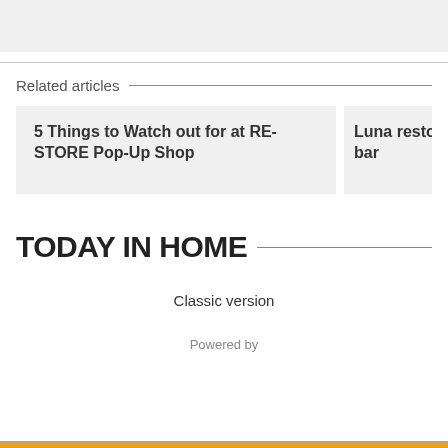[Figure (other): Gray placeholder image box at top of page]
Related articles
5 Things to Watch out for at RE-STORE Pop-Up Shop
Luna resto bar
TODAY IN HOME
Classic version
Powered by